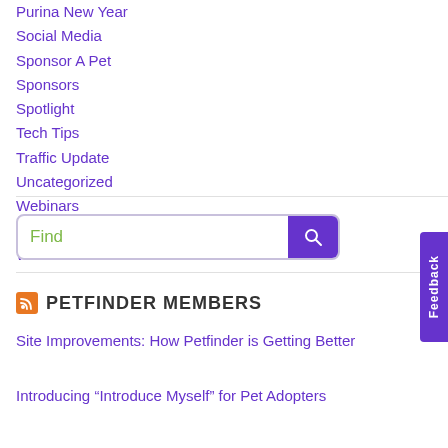Purina New Year
Social Media
Sponsor A Pet
Sponsors
Spotlight
Tech Tips
Traffic Update
Uncategorized
Webinars
Weekly Report
Wildlife
Find
PETFINDER MEMBERS
Site Improvements: How Petfinder is Getting Better
Introducing “Introduce Myself” for Pet Adopters